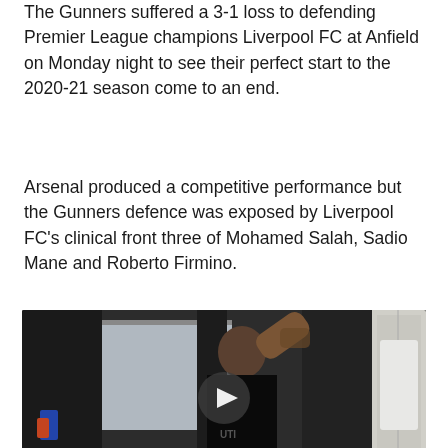The Gunners suffered a 3-1 loss to defending Premier League champions Liverpool FC at Anfield on Monday night to see their perfect start to the 2020-21 season come to an end.
Arsenal produced a competitive performance but the Gunners defence was exposed by Liverpool FC's clinical front three of Mohamed Salah, Sadio Mane and Roberto Firmino.
[Figure (photo): Video thumbnail showing a bald man in a dark t-shirt in what appears to be a locker room or training facility, with a play button overlay in the center.]